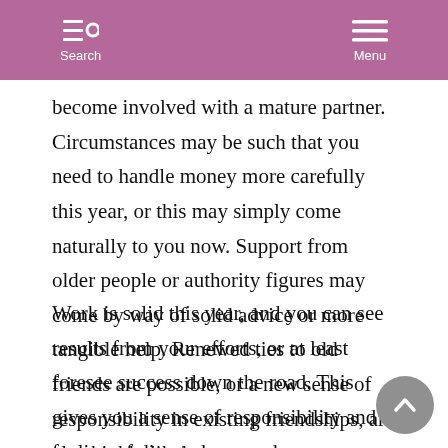Search  Menu
become involved with a mature partner. Circumstances may be such that you need to handle money more carefully this year, or this may simply come naturally to you now. Support from older people or authority figures may come by way of solid advice or more tangible help. Renewed ties to old friends are possible, or a new sense of responsibility in existing friendships, are also highly likely.
Work is solid this year, and you can see results from your efforts, or at least foresee success down the road. This gives you a sense of responsibility and a feeling of directedness and purposefulness. Traditional methods work, and thoroughness brings rewards. Practice, studies, or refining a